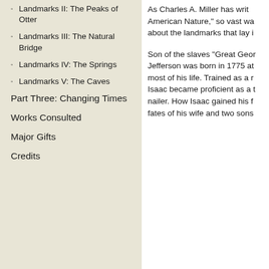Landmarks II: The Peaks of Otter
Landmarks III: The Natural Bridge
Landmarks IV: The Springs
Landmarks V: The Caves
Part Three: Changing Times
Works Consulted
Major Gifts
Credits
As Charles A. Miller has writ American Nature," so vast wa about the landmarks that lay i
Son of the slaves "Great Geor Jefferson was born in 1775 at most of his life. Trained as a r Isaac became proficient as a t nailer. How Isaac gained his f fates of his wife and two sons